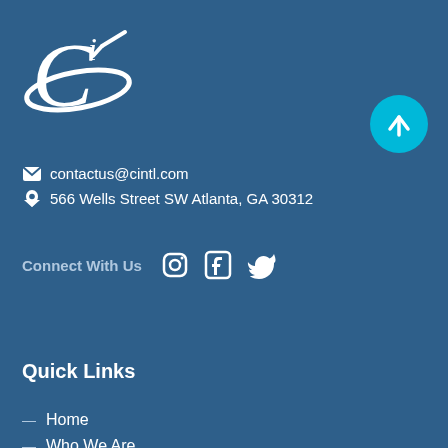[Figure (logo): Circular international logo with a stylized C and checkmark, white on blue]
[Figure (other): Cyan circular back-to-top button with white upward arrow]
contactus@cintl.com
566 Wells Street SW Atlanta, GA 30312
Connect With Us
[Figure (other): Social media icons: Instagram, Facebook, Twitter]
Quick Links
Home
Who We Are